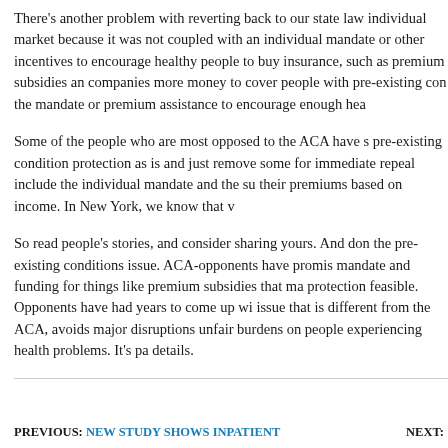There's another problem with reverting back to our state law individual market because it was not coupled with an individual mandate or other incentives to encourage healthy people to buy insurance, such as premium subsidies and reinsurance that give companies more money to cover people with pre-existing conditions. Our state tried going without the mandate or premium assistance to encourage enough healthy people to enroll.
Some of the people who are most opposed to the ACA have said, keep pre-existing condition protection as is and just remove some other parts. The parts targeted for immediate repeal include the individual mandate and the subsidies that reduce their premiums based on income. In New York, we know that without the mandate...
So read people's stories, and consider sharing yours. And don't lose sight of the pre-existing conditions issue. ACA-opponents have promised to repeal the mandate and funding for things like premium subsidies that make pre-existing condition protection feasible. Opponents have had years to come up with an alternative on this issue that is different from the ACA, avoids major disruptions to coverage, and avoids unfair burdens on people experiencing health problems. It's past time to show the details.
PREVIOUS: NEW STUDY SHOWS INPATIENT    NEXT: